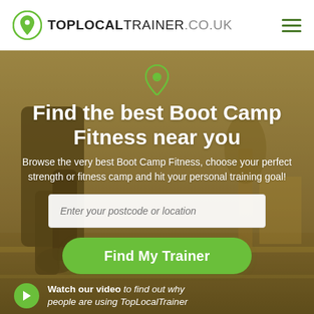[Figure (logo): TopLocalTrainer.co.uk logo with green map pin icon on left, text TOPLOCALTRAINER.CO.UK to the right]
[Figure (screenshot): Website hero section with background photo of a person running on a road, overlaid with a green-tinted semi-transparent filter, a green map pin SVG icon, bold white heading, subtitle text, postcode search input, green Find My Trainer button, and a video watch prompt at the bottom]
Find the best Boot Camp Fitness near you
Browse the very best Boot Camp Fitness, choose your perfect strength or fitness camp and hit your personal training goal!
Enter your postcode or location
Find My Trainer
Watch our video to find out why people are using TopLocalTrainer